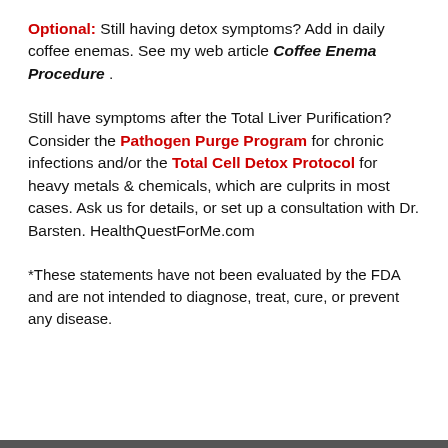Optional: Still having detox symptoms? Add in daily coffee enemas. See my web article Coffee Enema Procedure .
Still have symptoms after the Total Liver Purification? Consider the Pathogen Purge Program for chronic infections and/or the Total Cell Detox Protocol for heavy metals & chemicals, which are culprits in most cases. Ask us for details, or set up a consultation with Dr. Barsten. HealthQuestForMe.com
*These statements have not been evaluated by the FDA and are not intended to diagnose, treat, cure, or prevent any disease.